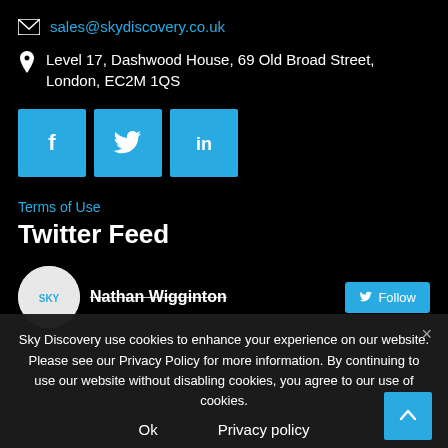sales@skydiscovery.co.uk
Level 17, Dashwood House, 69 Old Broad Street, London, EC2M 1QS
[Figure (infographic): Three social media icon buttons: Facebook (f), Twitter (bird), LinkedIn (in), all in sky blue squares]
Terms of Use
Twitter Feed
[Figure (screenshot): Twitter feed preview showing Sky logo avatar, Nathan Wigginton name with Follow button]
Sky Discovery use cookies to enhance your experience on our website. Please see our Privacy Policy for more information. By continuing to use our website without disabling cookies, you agree to our use of cookies.
Ok
Privacy policy